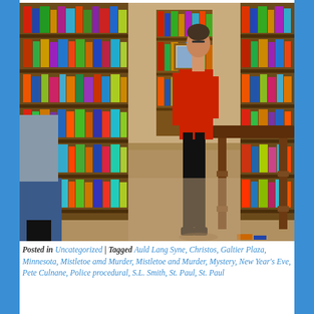[Figure (photo): A person wearing a red shirt and black pants standing at a wooden lectern or podium inside a bookstore. Tall bookshelves filled with colorful books line the walls. Other people are partially visible in the lower left. The setting appears to be an author reading or book event.]
Posted in Uncategorized | Tagged Auld Lang Syne, Christos, Galtier Plaza, Minnesota, Mistletoe amd Murder, Mistletoe and Murder, Mystery, New Year's Eve, Pete Culnane, Police procedural, S.L. Smith, St. Paul, St. Paul